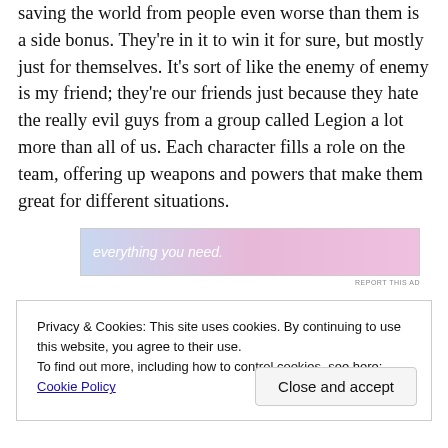saving the world from people even worse than them is a side bonus. They're in it to win it for sure, but mostly just for themselves. It's sort of like the enemy of enemy is my friend; they're our friends just because they hate the really evil guys from a group called Legion a lot more than all of us. Each character fills a role on the team, offering up weapons and powers that make them great for different situations.
[Figure (other): Advertisement banner with gradient background (blue to pink) and text 'everything you need.' with a logo on the right side.]
Privacy & Cookies: This site uses cookies. By continuing to use this website, you agree to their use.
To find out more, including how to control cookies, see here: Cookie Policy